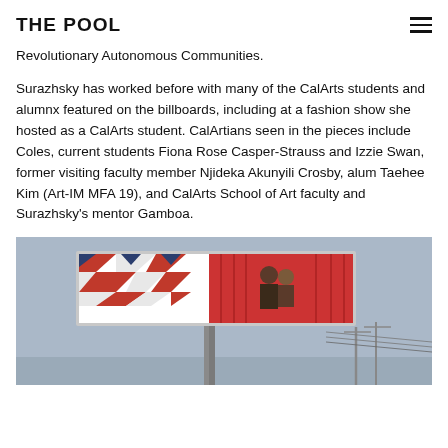THE POOL
Revolutionary Autonomous Communities.
Surazhsky has worked before with many of the CalArts students and alumnx featured on the billboards, including at a fashion show she hosted as a CalArts student. CalArtians seen in the pieces include Coles, current students Fiona Rose Casper-Strauss and Izzie Swan, former visiting faculty member Njideka Akunyili Crosby, alum Taehee Kim (Art-IM MFA 19), and CalArts School of Art faculty and Surazhsky's mentor Gamboa.
[Figure (photo): Outdoor billboard showing an artwork with geometric red, white, and blue zigzag pattern on the left and figures with a red curtain backdrop on the right, mounted on a tall metal pole against a blue sky, with utility poles and wires visible in the background.]